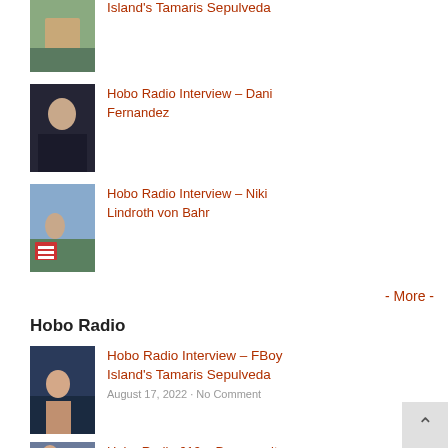[Figure (photo): Thumbnail photo of Tamaris Sepulveda on a bar stool (top, partially cut off)]
Hobo Radio Interview – Dani Fernandez
[Figure (photo): Thumbnail photo of Dani Fernandez in a black outfit]
Hobo Radio Interview – Niki Lindroth von Bahr
[Figure (photo): Thumbnail photo showing a MEGA sign in a city scene]
- More -
Hobo Radio
Hobo Radio Interview – FBoy Island's Tamaris Sepulveda
August 17, 2022 • No Comment
[Figure (photo): Thumbnail photo for Hobo Radio 619 – Desperosity, partially visible]
Hobo Radio 619 – Desperosity